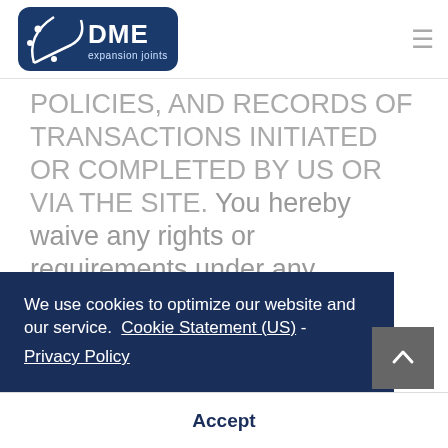DME expansion joints [logo] [hamburger menu]
POLICIES, AND RECORDS OF TRANSACTIONS INITIATED OR COMPLETED BY US OR VIA THE SITE. You hereby waive any rights or requirements under any statutes, regulations, rules, ordinances, or [require] [o] [ny] means other than electronic means.
We use cookies to optimize our website and our service. Cookie Statement (US) - Privacy Policy
Accept